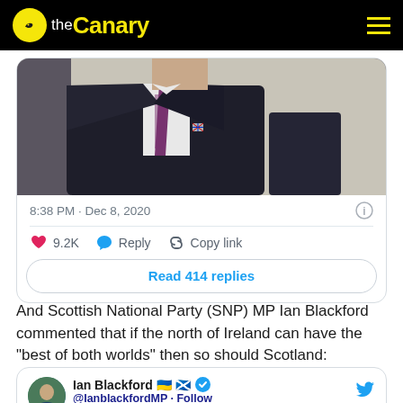the Canary
[Figure (screenshot): Embedded tweet screenshot showing a photo of a man in a dark suit with a Union Jack pin and purple tie, with timestamp 8:38 PM · Dec 8, 2020, 9.2K likes, Reply, Copy link buttons, and a Read 414 replies button]
And Scottish National Party (SNP) MP Ian Blackford commented that if the north of Ireland can have the “best of both worlds” then so should Scotland:
[Figure (screenshot): Start of embedded tweet from Ian Blackford with emoji flags and verified badge, handle @IanblackfordMP · Follow]